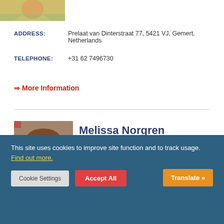[Figure (photo): Partial photo of a person at the top of the page]
ADDRESS: Prelaat van Dinterstraat 77, 5421 VJ, Gemert, Netherlands
TELEPHONE: +31 62 7496730
⇒ More Information
[Figure (photo): Portrait photo of Melissa Norgren smiling, a woman with long brown hair]
Melissa Norgren
Dyslexia Dynamics
[Figure (other): Facebook and GitHub social media icons]
This site uses cookies to improve site function and to track usage. Find out more.
Cookie Settings  Accept All  Translate »